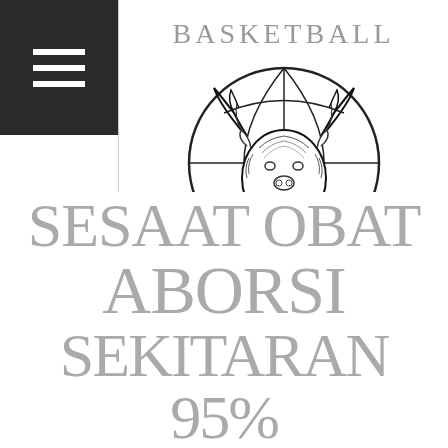[Figure (logo): Dark hamburger menu icon (three horizontal white lines) on black background, top-left corner]
BASKETBALL
[Figure (logo): Basketball club logo: a bison/bull head inside a basketball circle with lines, black and white illustration for SC Vierkirchen]
SC VIERKIRCHEN
SESAAT OBAT ABORSI SEKITARAN 95%